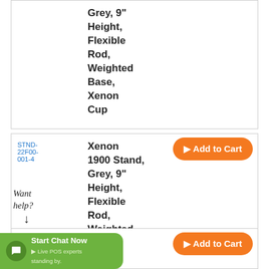Grey, 9" Height, Flexible Rod, Weighted Base, Xenon Cup
STND-22F00-001-4
Xenon 1900 Stand, Grey, 9" Height, Flexible Rod, Weighted Base
$29.00
Add to Cart
Xenon - 1-
$36.00
Add to Cart
Want help?
Start Chat Now ▶ Live POS experts standing by.